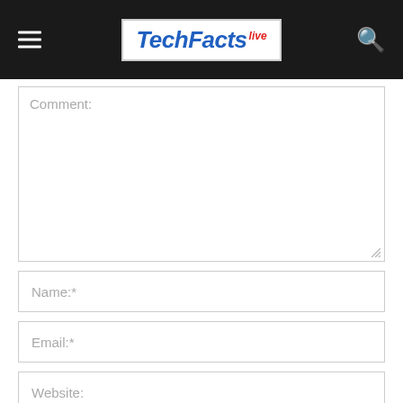Tech Facts Live
Comment:
Name:*
Email:*
Website:
Save my name, email, and website in this browser for the next time I comment.